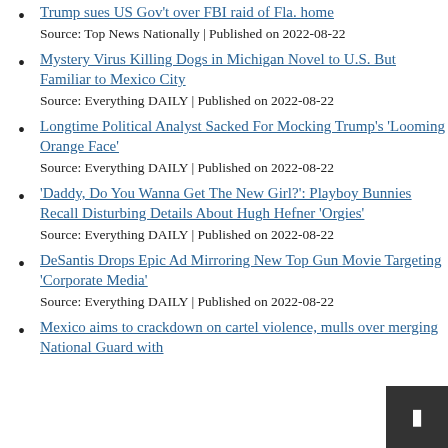Trump sues US Gov't over FBI raid of Fla. home
Source: Top News Nationally | Published on 2022-08-22
Mystery Virus Killing Dogs in Michigan Novel to U.S. But Familiar to Mexico City
Source: Everything DAILY | Published on 2022-08-22
Longtime Political Analyst Sacked For Mocking Trump's 'Looming Orange Face'
Source: Everything DAILY | Published on 2022-08-22
'Daddy, Do You Wanna Get The New Girl?': Playboy Bunnies Recall Disturbing Details About Hugh Hefner 'Orgies'
Source: Everything DAILY | Published on 2022-08-22
DeSantis Drops Epic Ad Mirroring New Top Gun Movie Targeting 'Corporate Media'
Source: Everything DAILY | Published on 2022-08-22
Mexico aims to crackdown on cartel violence, mulls over merging National Guard with